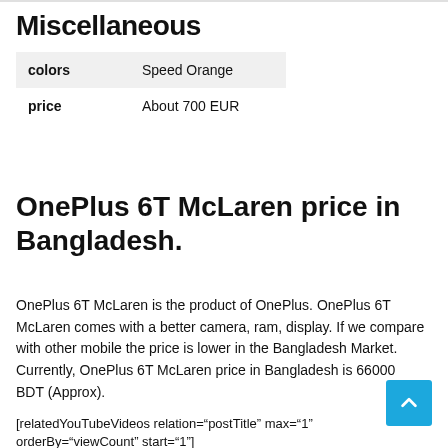Miscellaneous
| colors | Speed Orange |
| price | About 700 EUR |
OnePlus 6T McLaren price in Bangladesh.
OnePlus 6T McLaren is the product of OnePlus. OnePlus 6T McLaren comes with a better camera, ram, display. If we compare with other mobile the price is lower in the Bangladesh Market. Currently, OnePlus 6T McLaren price in Bangladesh is 66000 BDT (Approx).
[relatedYouTubeVideos relation="postTitle" max="1" orderBy="viewCount" start="1"]